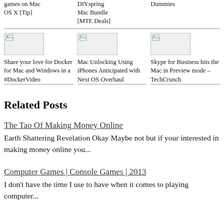games on Mac OS X [Tip]
DIYspring Mac Bundle [MTE Deals]
Dummies
[Figure (illustration): Thumbnail image placeholder with broken image icon - card 1]
Share your love for Docker for Mac and Windows in a #DockerVideo
[Figure (illustration): Thumbnail image placeholder with broken image icon - card 2]
Mac Unlocking Using iPhones Anticipated with Next OS Overhaul
[Figure (illustration): Thumbnail image placeholder with broken image icon - card 3]
Skype for Business hits the Mac in Preview mode – TechCrunch
Related Posts
The Tao Of Making Money Online
Earth Shattering Revelation Okay Maybe not but if your interested in making money online you...
Computer Games | Console Games | 2013
I don't have the time I use to have when it comes to playing computer...